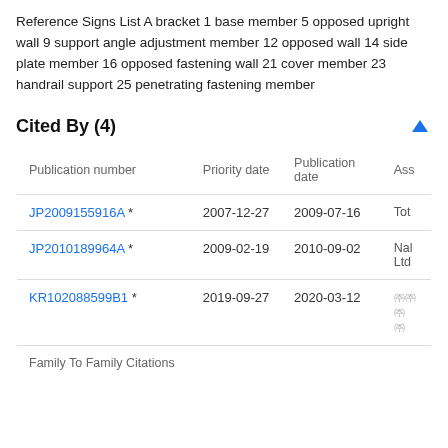Reference Signs List A bracket 1 base member 5 opposed upright wall 9 support angle adjustment member 12 opposed wall 14 side plate member 16 opposed fastening wall 21 cover member 23 handrail support 25 penetrating fastening member
Cited By (4)
| Publication number | Priority date | Publication date | Ass |
| --- | --- | --- | --- |
| JP2009155916A * | 2007-12-27 | 2009-07-16 | Tot |
| JP2010189964A * | 2009-02-19 | 2010-09-02 | Nal Ltd |
| KR102088599B1 * | 2019-09-27 | 2020-03-12 | ㈜㈜㈜㈜ |
| Family To Family Citations |  |  |  |